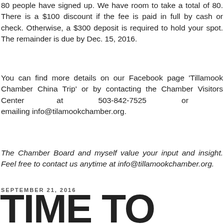80 people have signed up. We have room to take a total of 80. There is a $100 discount if the fee is paid in full by cash or check. Otherwise, a $300 deposit is required to hold your spot. The remainder is due by Dec. 15, 2016.
You can find more details on our Facebook page 'Tillamook Chamber China Trip' or by contacting the Chamber Visitors Center at 503-842-7525 or emailing info@tilamookchamber.org.
The Chamber Board and myself value your input and insight. Feel free to contact us anytime at info@tillamookchamber.org.
SEPTEMBER 21, 2016
TIME TO